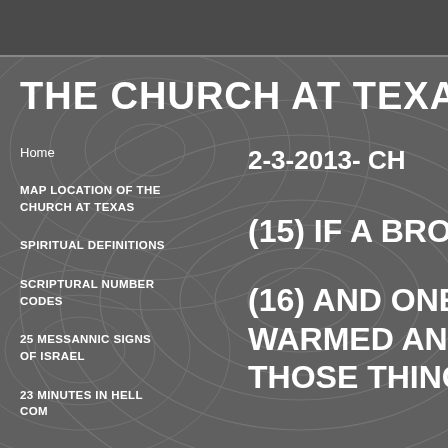THE CHURCH AT TEXAS
Home
MAP LOCATION OF THE CHURCH AT TEXAS
SPIRITUAL DEFINITIONS
SCRIPTURAL NUMBER CODES
25 MESSANNIC SIGNS OF ISRAEL
23 MINUTES IN HELL COM
2-3-2013- CH
(15) IF A BROTHE
(16) AND ONE OF Y
WARMED AND F
THOSE THINGS WH